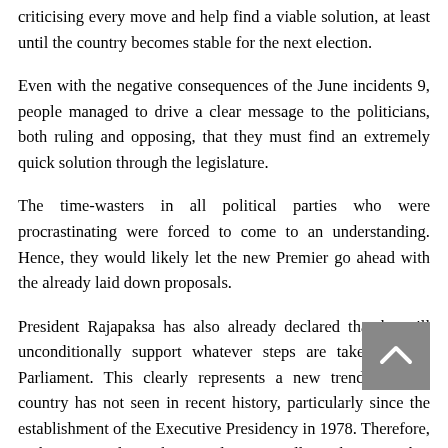criticising every move and help find a viable solution, at least until the country becomes stable for the next election.
Even with the negative consequences of the June incidents 9, people managed to drive a clear message to the politicians, both ruling and opposing, that they must find an extremely quick solution through the legislature.
The time-wasters in all political parties who were procrastinating were forced to come to an understanding. Hence, they would likely let the new Premier go ahead with the already laid down proposals.
President Rajapaksa has also already declared that he will unconditionally support whatever steps are taken by the Parliament. This clearly represents a new trend that the country has not seen in recent history, particularly since the establishment of the Executive Presidency in 1978. Therefore, without prejudice, the people must allow this new but temporary arrangement to function until a new and stable